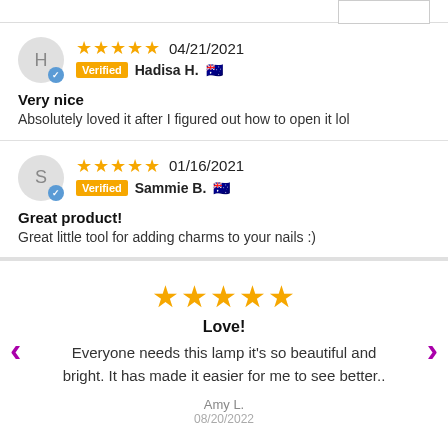Hadisa H. — 04/21/2021 — Verified — Very nice — Absolutely loved it after I figured out how to open it lol
Sammie B. — 01/16/2021 — Verified — Great product! — Great little tool for adding charms to your nails :)
Love! — Everyone needs this lamp it's so beautiful and bright. It has made it easier for me to see better.. — Amy L. — 08/20/2022